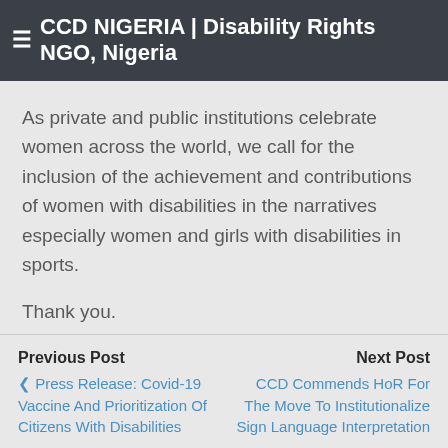≡ CCD NIGERIA | Disability Rights NGO, Nigeria
As private and public institutions celebrate women across the world, we call for the inclusion of the achievement and contributions of women with disabilities in the narratives especially women and girls with disabilities in sports.
Thank you.
David O. Anyaele
Executive Director
Previous Post | Next Post | ❮ Press Release: Covid-19 Vaccine And Prioritization Of Citizens With Disabilities | CCD Commends HoR For The Move To Institutionalize Sign Language Interpretation